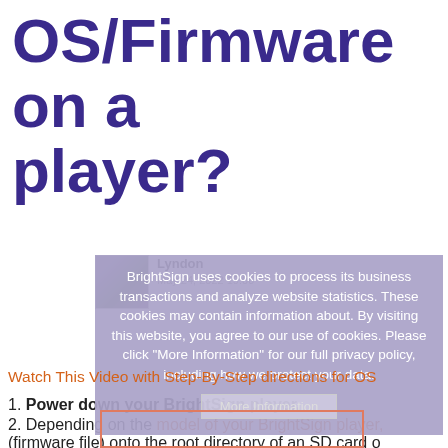OS/Firmware on a player?
[Figure (screenshot): Cookie consent overlay with text about BrightSign using cookies and a 'More Information' button, overlaid on a user comment by Lyndon dated May 24, 2022 19:06]
Watch This Video with Step-By-Step directions for OS...
1. Power down your BrightSign player.
2. Depending on the model of your BrightSign player,
(firmware file) onto the root directory of an SD card o...
other files with the .bsfw extension on it.